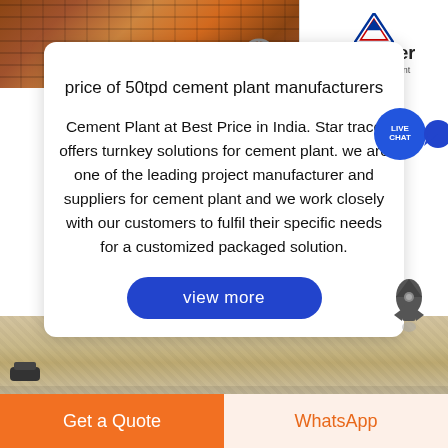[Figure (photo): Top banner showing construction/crusher site on the left and ACrusher Mining Equipment logo on the right]
price of 50tpd cement plant manufacturers Cement Plant at Best Price in India. Star trace offers turnkey solutions for cement plant. we are one of the leading project manufacturer and suppliers for cement plant and we work closely with our customers to fulfil their specific needs for a customized packaged solution.
[Figure (other): View more button - blue rounded rectangle button]
[Figure (other): Live Chat bubble icon - blue circle with LIVE CHAT text and speech bubble tail]
[Figure (other): Rocket icon in dark gray]
[Figure (photo): Bottom image showing sand/stone material texture]
Get a Quote
WhatsApp